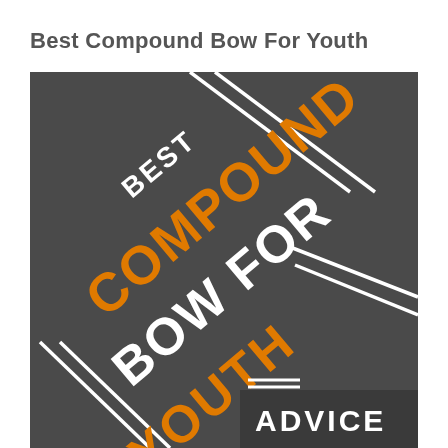Best Compound Bow For Youth
[Figure (illustration): Dark gray background graphic with diagonal white line decorations and text reading 'BEST COMPOUND BOW FOR YOUTH' in large bold letters — 'COMPOUND BOW FOR' in orange and 'BEST', 'FOR', 'YOUTH' accented in white — and 'ADVICE' in bold white letters on a darker bar at the bottom right corner.]